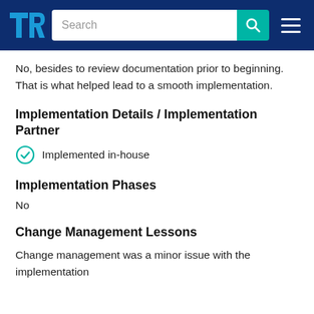TrustRadius — Search
No, besides to review documentation prior to beginning. That is what helped lead to a smooth implementation.
Implementation Details / Implementation Partner
Implemented in-house
Implementation Phases
No
Change Management Lessons
Change management was a minor issue with the implementation